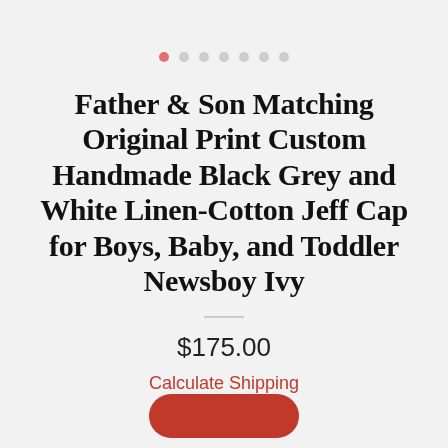[Figure (other): Pagination dots indicator with 7 dots; first dot is pink/red (active), remaining 6 are light grey]
Father & Son Matching Original Print Custom Handmade Black Grey and White Linen-Cotton Jeff Cap for Boys, Baby, and Toddler Newsboy Ivy
$175.00
Calculate Shipping